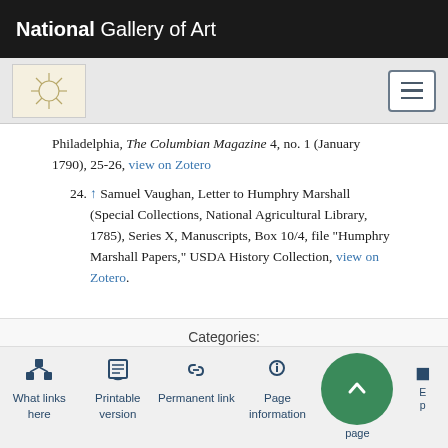National Gallery of Art
Philadelphia, The Columbian Magazine 4, no. 1 (January 1790), 25-26, view on Zotero
24. ↑ Samuel Vaughan, Letter to Humphry Marshall (Special Collections, National Agricultural Library, 1785), Series X, Manuscripts, Box 10/4, file "Humphry Marshall Papers," USDA History Collection, view on Zotero.
Categories:
Pages with broken file links | People
What links here | Printable version | Permanent link | Page information | page